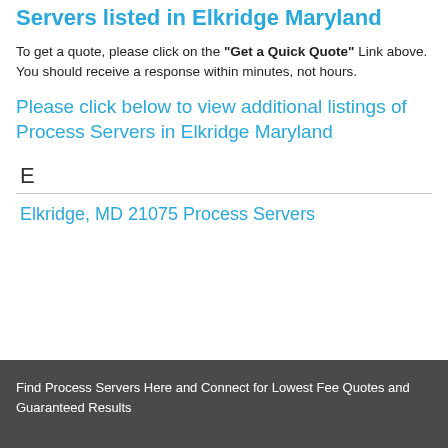Contact one of all of the Process Servers listed in Elkridge Maryland
To get a quote, please click on the "Get a Quick Quote" Link above. You should receive a response within minutes, not hours.
Please click below to view additional listings of Process Servers in Elkridge Maryland
E
Elkridge, MD 21075 Process Servers
Find Process Servers Here and Connect for Lowest Fee Quotes and Guaranteed Results